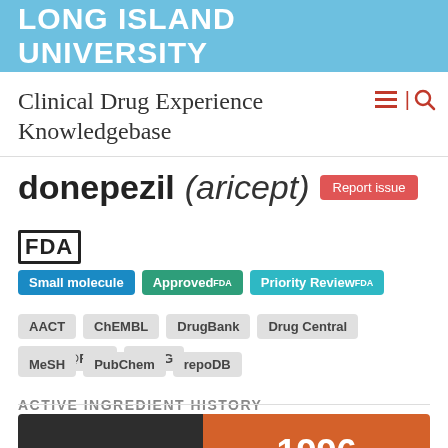LONG ISLAND UNIVERSITY
Clinical Drug Experience Knowledgebase
donepezil (aricept)
FDA
Small molecule
Approved FDA
Priority Review FDA
AACT
ChEMBL
DrugBank
Drug Central
Drugs@FDA
KEGG
MeSH
PubChem
repoDB
ACTIVE INGREDIENT HISTORY
[Figure (infographic): A two-part horizontal bar showing active ingredient history. Left section is dark/black, right section is orange showing year 1996.]